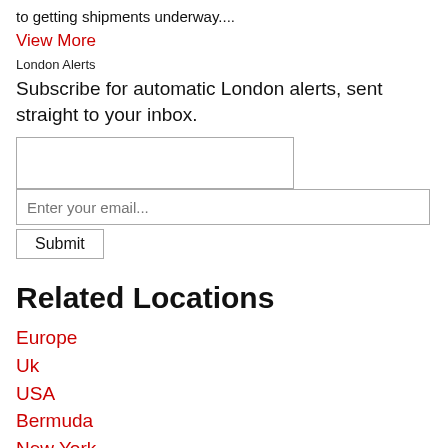to getting shipments underway....
View More
London Alerts
Subscribe for automatic London alerts, sent straight to your inbox.
Enter your email...
Submit
Related Locations
Europe
Uk
USA
Bermuda
New York
China